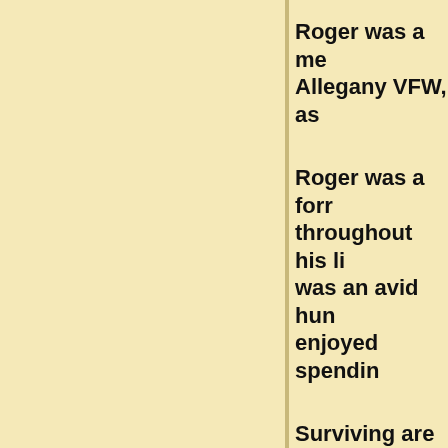Roger was a mem Allegany VFW, as
Roger was a form throughout his li was an avid hun enjoyed spendin
Surviving are tw (Andrea) Bailey Herron of Olean; N.Y., and Darnyl Bailey and Mark grandchildren; a sister, Joan Bell